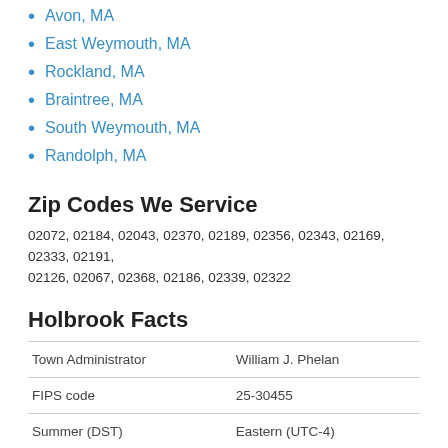Avon, MA
East Weymouth, MA
Rockland, MA
Braintree, MA
South Weymouth, MA
Randolph, MA
Zip Codes We Service
02072, 02184, 02043, 02370, 02189, 02356, 02343, 02169, 02333, 02191, 02126, 02067, 02368, 02186, 02339, 02322
Holbrook Facts
|  |  |
| --- | --- |
| Town Administrator | William J. Phelan |
| FIPS code | 25-30455 |
| Summer (DST) | Eastern (UTC-4) |
| Time zone | Eastern (UTC-5) |